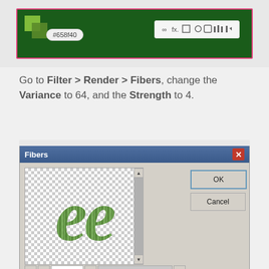[Figure (screenshot): Photoshop interface screenshot showing color chip #658f40 and toolbar icons on a dark green background with pink border]
Go to Filter > Render > Fibers, change the Variance to 64, and the Strength to 4.
[Figure (screenshot): Photoshop Fibers dialog box showing preview of fiber texture applied to green grass text on checkered transparent background, with Variance set to 64, OK and Cancel buttons]